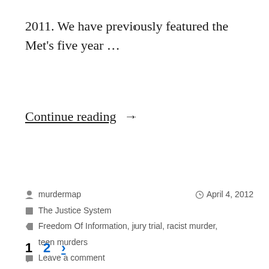2011. We have previously featured the Met's five year …
Continue reading →
murdermap   April 4, 2012
The Justice System
Freedom Of Information, jury trial, racist murder, teen murders
Leave a comment
1  2  >